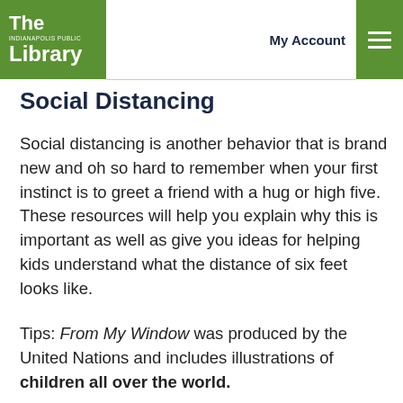The Indianapolis Public Library | My Account
Social Distancing
Social distancing is another behavior that is brand new and oh so hard to remember when your first instinct is to greet a friend with a hug or high five. These resources will help you explain why this is important as well as give you ideas for helping kids understand what the distance of six feet looks like.
Tips: From My Window was produced by the United Nations and includes illustrations of children all over the world.